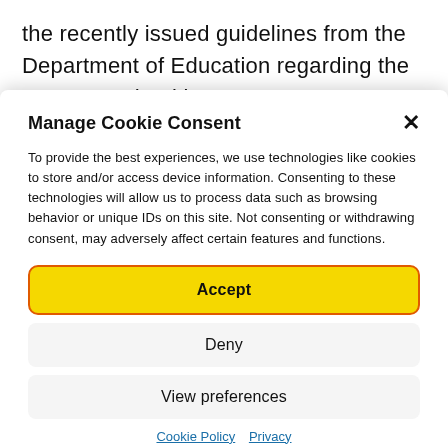the recently issued guidelines from the Department of Education regarding the return to school in August 2021, we have had to make
Manage Cookie Consent
To provide the best experiences, we use technologies like cookies to store and/or access device information. Consenting to these technologies will allow us to process data such as browsing behavior or unique IDs on this site. Not consenting or withdrawing consent, may adversely affect certain features and functions.
Accept
Deny
View preferences
Cookie Policy  Privacy